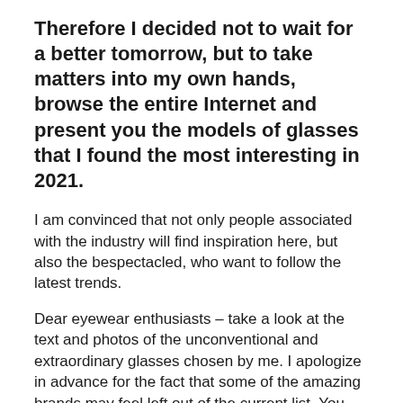Therefore I decided not to wait for a better tomorrow, but to take matters into my own hands, browse the entire Internet and present you the models of glasses that I found the most interesting in 2021.
I am convinced that not only people associated with the industry will find inspiration here, but also the bespectacled, who want to follow the latest trends.
Dear eyewear enthusiasts – take a look at the text and photos of the unconventional and extraordinary glasses chosen by me. I apologize in advance for the fact that some of the amazing brands may feel left out of the current list. You yourself understand that the topic is very broad and it is impossible to put everything into one article (remember that this is one of three or four publications). What's more, you will find…